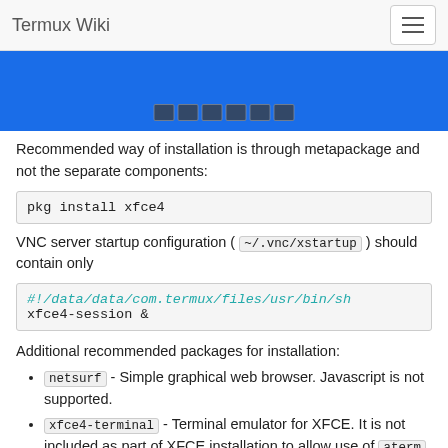Termux Wiki
[Figure (screenshot): Screenshot of XFCE4 desktop environment with a blue background and a taskbar at the bottom showing several application icons.]
Recommended way of installation is through metapackage and not the separate components:
VNC server startup configuration ( ~/.vnc/xstartup ) should contain only
Additional recommended packages for installation:
netsurf - Simple graphical web browser. Javascript is not supported.
xfce4-terminal - Terminal emulator for XFCE. It is not included as part of XFCE installation to allow use of aterm or st.